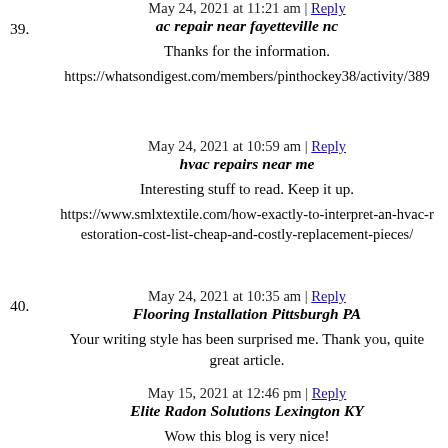39. ac repair near fayetteville nc — May 24, 2021 at 11:21 am | Reply
Thanks for the information.
https://whatsondigest.com/members/pinthockey38/activity/389...
40. hvac repairs near me — May 24, 2021 at 10:59 am | Reply
Interesting stuff to read. Keep it up.
https://www.smlxtextile.com/how-exactly-to-interpret-an-hvac-restoration-cost-list-cheap-and-costly-replacement-pieces/
41. Flooring Installation Pittsburgh PA — May 24, 2021 at 10:35 am | Reply
Your writing style has been surprised me. Thank you, quite great article.
42. Elite Radon Solutions Lexington KY — May 15, 2021 at 12:46 pm | Reply
Wow this blog is very nice!